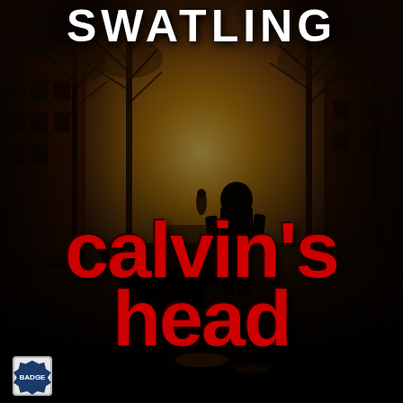[Figure (illustration): Book cover image: a moody, sepia-toned street scene with tall bare trees lining an urban alley. A glowing golden light emanates from the far end of the street. In the foreground, a dark silhouette of a boy standing next to a large dog (also a dark silhouette). In the distant background, another small silhouette of a person walking toward the light. Brick buildings with steps visible on the left side. Dark and atmospheric.]
SWATLING
calvin's
head